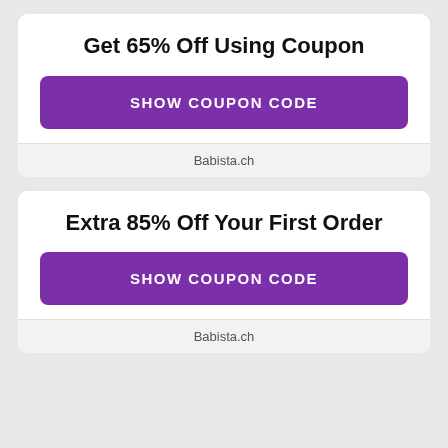Get 65% Off Using Coupon
SHOW COUPON CODE
Babista.ch
Extra 85% Off Your First Order
SHOW COUPON CODE
Babista.ch